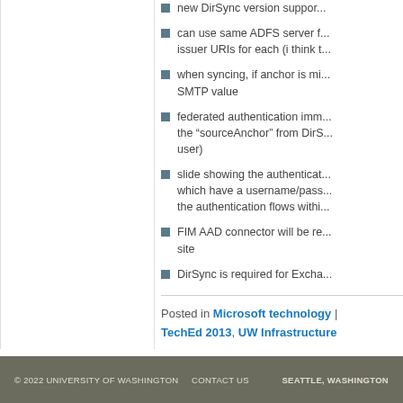new DirSync version suppor...
can use same ADFS server f... issuer URIs for each (i think t...
when syncing, if anchor is mi... SMTP value
federated authentication imm... the “sourceAnchor” from DirS... user)
slide showing the authenticat... which have a username/pass... the authentication flows withi...
FIM AAD connector will be re... site
DirSync is required for Excha...
Posted in Microsoft technology | TechEd 2013, UW Infrastructure
© 2022 UNIVERSITY OF WASHINGTON   CONTACT US   SEATTLE, WASHINGTON